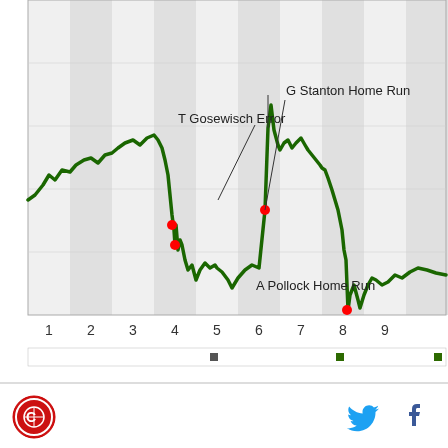[Figure (continuous-plot): Win probability chart for a baseball game showing win probability over innings 1-9+. Green line shows fluctuating win probability. Annotated events: 'T Gosewisch Error' around inning 4, 'G Stanton Home Run' around inning 6.5 (spike up), 'A Pollock Home Run' around inning 7.5. Red dots mark key event points. X-axis shows innings 1-9, alternating gray/white column bands.]
[Figure (logo): Round red logo with circular border, sports team or site logo]